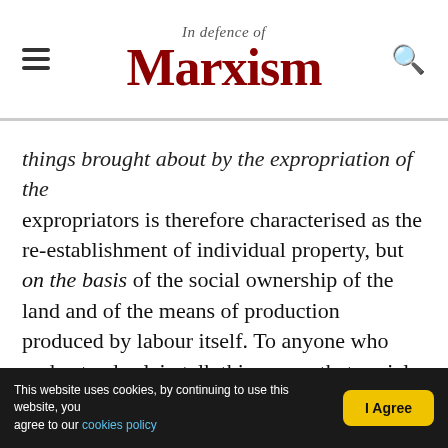In Defence of Marxism
things brought about by the expropriation of the expropriators is therefore characterised as the re-establishment of individual property, but on the basis of the social ownership of the land and of the means of production produced by labour itself. To anyone who understands plain talk this means that social ownership extends to the land and the other means of production, and individual ownership to the products, that is, the articles of consumption. And in order to make the matter comprehensible even to children of six, Marx assumes on page 56 “a community of free individuals, carrying on their work with the means of production in
This website uses cookies, by continuing to use this website, you agree to our cookies policy | I Agree